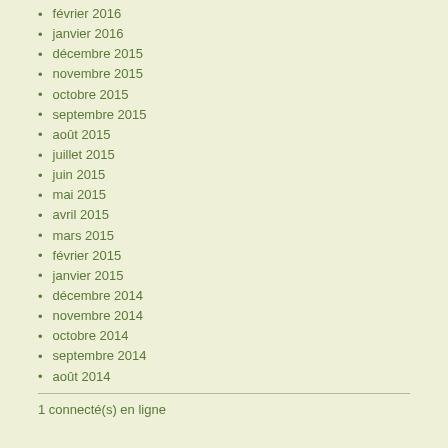février 2016
janvier 2016
décembre 2015
novembre 2015
octobre 2015
septembre 2015
août 2015
juillet 2015
juin 2015
mai 2015
avril 2015
mars 2015
février 2015
janvier 2015
décembre 2014
novembre 2014
octobre 2014
septembre 2014
août 2014
1 connecté(s) en ligne